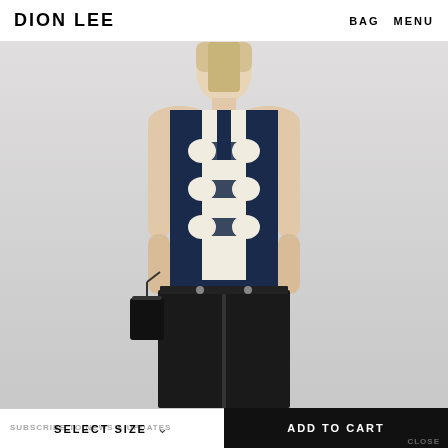DION LEE   BAG  MENU
[Figure (photo): Fashion product photo of a model wearing a navy and cream cable-knit sleeveless vest with geometric cutout pattern, paired with black wide-leg trousers and holding a small black leather bag]
SELECT SIZE
ADD TO CART
SUBSCRIBE TO NEWS & UPDATES
CLOSE